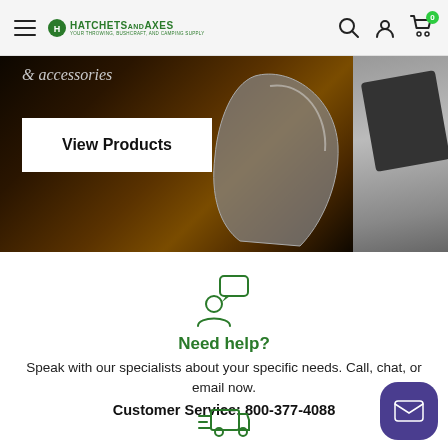Hatchets and Axes — navigation bar with hamburger menu, logo, search, account, and cart (0) icons
[Figure (screenshot): Hero banner showing an axe on a dark wooden surface with text '& accessories' and a 'View Products' button. A second panel on the right shows a dark item on grey surface.]
[Figure (illustration): Green icon of a person with a speech/chat bubble — 'Need help?' customer support icon]
Need help?
Speak with our specialists about your specific needs. Call, chat, or email now.
Customer Service: 800-377-4088
[Figure (illustration): Green delivery truck icon with speed lines]